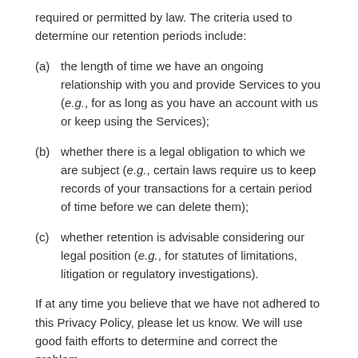required or permitted by law. The criteria used to determine our retention periods include:
(a)   the length of time we have an ongoing relationship with you and provide Services to you (e.g., for as long as you have an account with us or keep using the Services);
(b)   whether there is a legal obligation to which we are subject (e.g., certain laws require us to keep records of your transactions for a certain period of time before we can delete them);
(c)   whether retention is advisable considering our legal position (e.g., for statutes of limitations, litigation or regulatory investigations).
If at any time you believe that we have not adhered to this Privacy Policy, please let us know. We will use good faith efforts to determine and correct the problem.